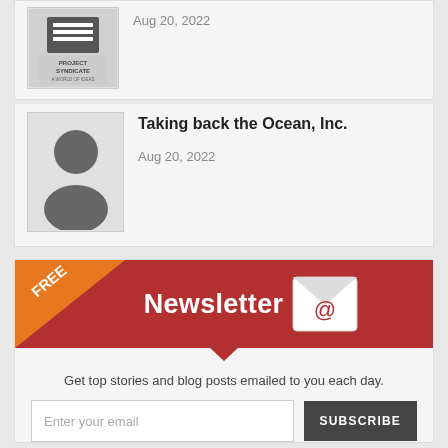[Figure (logo): Project Syndicate logo thumbnail cropped at top]
Aug 20, 2022
[Figure (photo): Generic user avatar silhouette thumbnail]
Taking back the Ocean, Inc.
Aug 20, 2022
[Figure (infographic): Newsletter signup banner with FREE badge, red background, email icon, text input and SUBSCRIBE button]
Get top stories and blog posts emailed to you each day.
[Figure (infographic): Social media icon bar with Facebook, Twitter, LinkedIn, Delicious, Google+, WhatsApp, and print icons]